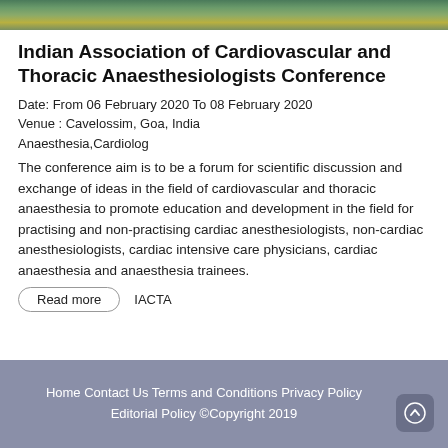[Figure (photo): Outdoor nature/water scene photo strip at the top of the page]
Indian Association of Cardiovascular and Thoracic Anaesthesiologists Conference
Date: From 06 February 2020 To 08 February 2020
Venue : Cavelossim, Goa, India
Anaesthesia,Cardiolog
The conference aim is to be a forum for scientific discussion and exchange of ideas in the field of cardiovascular and thoracic anaesthesia to promote education and development in the field for practising and non-practising cardiac anesthesiologists, non-cardiac anesthesiologists, cardiac intensive care physicians, cardiac anaesthesia and anaesthesia trainees.
Read more   IACTA
Home Contact Us Terms and Conditions Privacy Policy Editorial Policy ©Copyright 2019